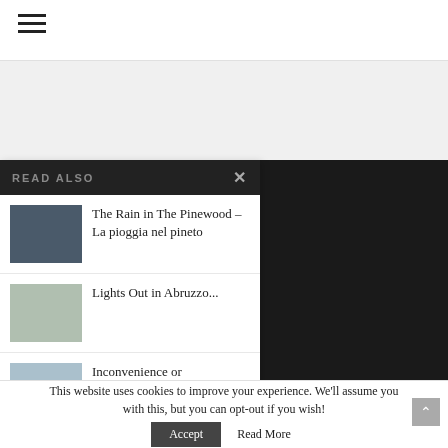≡ (hamburger menu icon)
READ ALSO
The Rain in The Pinewood – La pioggia nel pineto
Lights Out in Abruzzo...
Inconvenience or Opportunity? A...
Culture  Experiences
ft Marketplace
uzzo is co-operative slow travel & food blog
unham, SocialSEOAngel
This website uses cookies to improve your experience. We'll assume you with this, but you can opt-out if you wish!
Accept
Read More